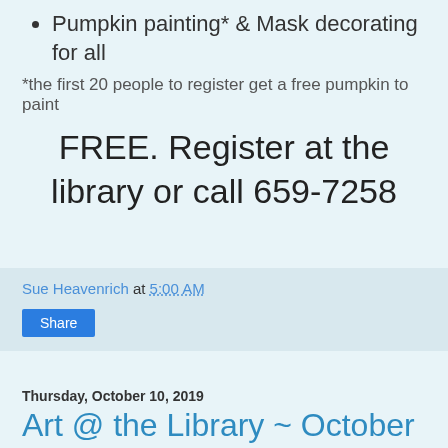Pumpkin painting* & Mask decorating for all
*the first 20 people to register get a free pumpkin to paint
FREE. Register at the library or call 659-7258
Sue Heavenrich at 5:00 AM
Share
Thursday, October 10, 2019
Art @ the Library ~ October 19 & 20
Join us on Saturday October 19 to Paint with Sandy at 1:30 pm. This is your chance to splash paint on canvas. Each month, Sandy